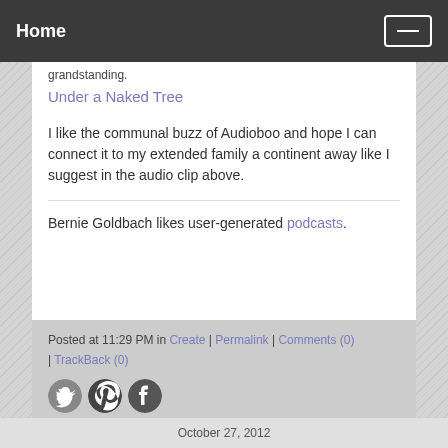Home
grandstanding.
Under a Naked Tree
I like the communal buzz of Audioboo and hope I can connect it to my extended family a continent away like I suggest in the audio clip above.
Bernie Goldbach likes user-generated podcasts.
Posted at 11:29 PM in Create | Permalink | Comments (0) | TrackBack (0)
[Figure (illustration): Three social media icon buttons: Twitter (bird), Pinterest (P), Facebook (f)]
October 27, 2012